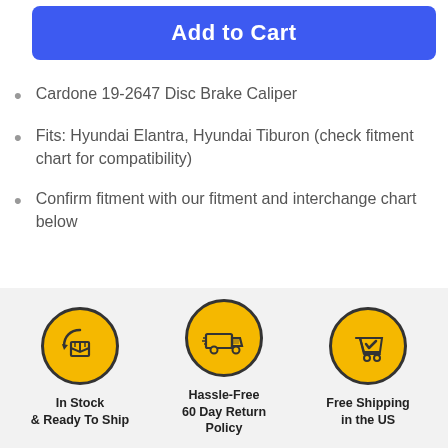Add to Cart
Cardone 19-2647 Disc Brake Caliper
Fits: Hyundai Elantra, Hyundai Tiburon (check fitment chart for compatibility)
Confirm fitment with our fitment and interchange chart below
[Figure (infographic): Three circular yellow badges with icons and labels: 'In Stock & Ready To Ship', 'Hassle-Free 60 Day Return Policy', 'Free Shipping in the US']